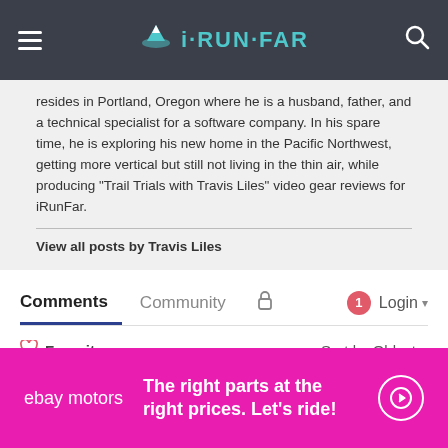iRUNFAR
resides in Portland, Oregon where he is a husband, father, and a technical specialist for a software company. In his spare time, he is exploring his new home in the Pacific Northwest, getting more vertical but still not living in the thin air, while producing "Trail Trials with Travis Liles" video gear reviews for iRunFar.
View all posts by Travis Liles
Comments  Community  🔒  1  Login
♡ Favorite  Sort by Oldest
Join the discussion…
LOG IN WITH
[Figure (screenshot): eBay Motors advertisement banner: magenta background with 'ebay motors' logo, text 'The right parts at the right prices. Let's ride!' and a circular arrow button]